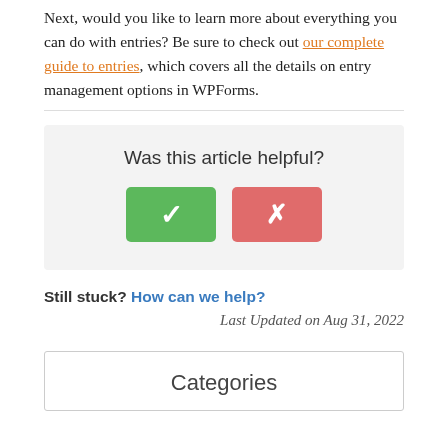Next, would you like to learn more about everything you can do with entries? Be sure to check out our complete guide to entries, which covers all the details on entry management options in WPForms.
[Figure (other): Feedback widget with 'Was this article helpful?' question and two buttons: a green checkmark (yes) and a red X (no)]
Still stuck? How can we help?
Last Updated on Aug 31, 2022
Categories